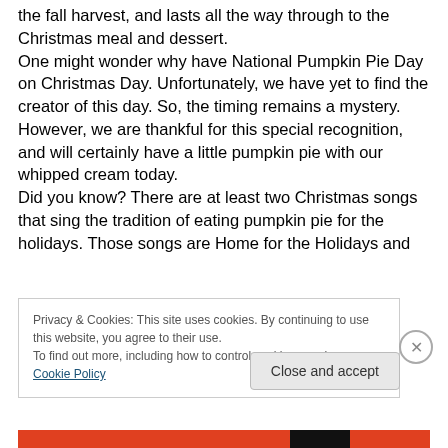the fall harvest, and lasts all the way through to the Christmas meal and dessert. One might wonder why have National Pumpkin Pie Day on Christmas Day. Unfortunately, we have yet to find the creator of this day. So, the timing remains a mystery. However, we are thankful for this special recognition, and will certainly have a little pumpkin pie with our whipped cream today. Did you know? There are at least two Christmas songs that sing the tradition of eating pumpkin pie for the holidays. Those songs are Home for the Holidays and
Privacy & Cookies: This site uses cookies. By continuing to use this website, you agree to their use. To find out more, including how to control cookies, see here: Cookie Policy
Close and accept